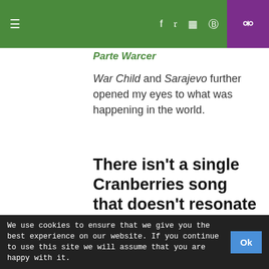≡  f  ✓  ☐  ℗  🔍
Parte Warrier
War Child and Sarajevo further opened my eyes to what was happening in the world.
There isn't a single Cranberries song that doesn't resonate and evoke memories.
I found strength and triumphed over bad relationships listening to Daffoidl's Lament.
We use cookies to ensure that we give you the best experience on our website. If you continue to use this site we will assume that you are happy with it.  Ok